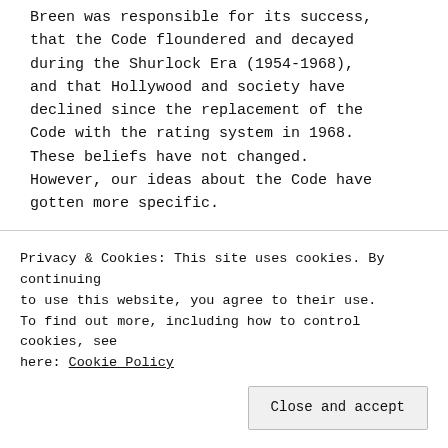Breen was responsible for its success, that the Code floundered and decayed during the Shurlock Era (1954-1968), and that Hollywood and society have declined since the replacement of the Code with the rating system in 1968. These beliefs have not changed. However, our ideas about the Code have gotten more specific.

Two years ago, we put more emphasis on societal influences which might have ... has made us adjust our opinions. Now,
Privacy & Cookies: This site uses cookies. By continuing to use this website, you agree to their use.
To find out more, including how to control cookies, see here: Cookie Policy
Close and accept